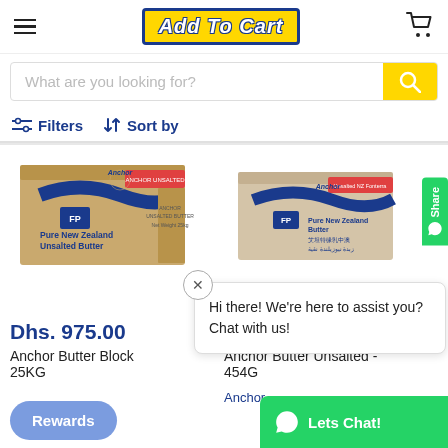Add To Cart
What are you looking for?
Filters  Sort by
[Figure (photo): Anchor Butter Block Unsalted 25KG cardboard box]
[Figure (photo): Anchor Butter Unsalted 454G cardboard box]
Dhs. 975.00
Anchor Butter Block 25KG
Anchor Butter Unsalted - 454G
Anchor
Hi there! We're here to assist you? Chat with us!